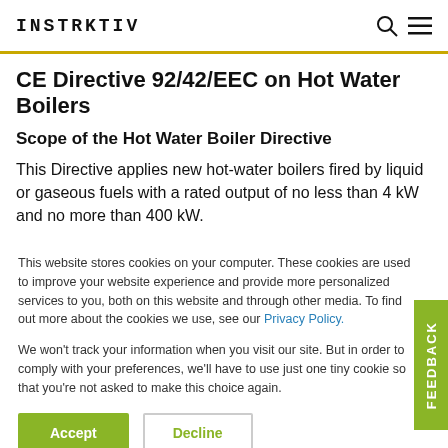INSTRKTIV
CE Directive 92/42/EEC on Hot Water Boilers
Scope of the Hot Water Boiler Directive
This Directive applies new hot-water boilers fired by liquid or gaseous fuels with a rated output of no less than 4 kW and no more than 400 kW.
This website stores cookies on your computer. These cookies are used to improve your website experience and provide more personalized services to you, both on this website and through other media. To find out more about the cookies we use, see our Privacy Policy.
We won't track your information when you visit our site. But in order to comply with your preferences, we'll have to use just one tiny cookie so that you're not asked to make this choice again.